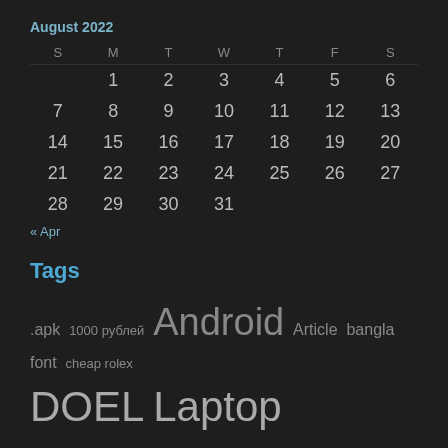August 2022
| S | M | T | W | T | F | S |
| --- | --- | --- | --- | --- | --- | --- |
|  | 1 | 2 | 3 | 4 | 5 | 6 |
| 7 | 8 | 9 | 10 | 11 | 12 | 13 |
| 14 | 15 | 16 | 17 | 18 | 19 | 20 |
| 21 | 22 | 23 | 24 | 25 | 26 | 27 |
| 28 | 29 | 30 | 31 |  |  |  |
« Apr
Tags
.apk  1000 рублей  Android  Article  bangla font  cheap rolex  DOEL  Laptop  Download  Earn  Ebook  EEE  fake  Home  Top